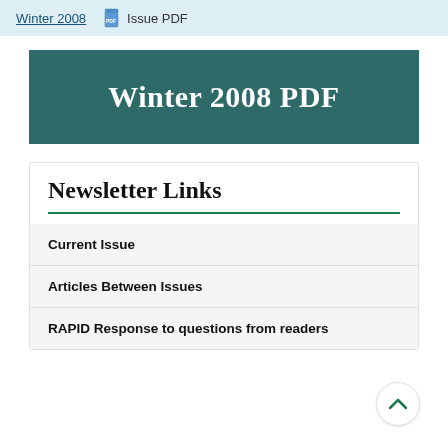Winter 2008  Issue PDF
Winter 2008 PDF
Newsletter Links
Current Issue
Articles Between Issues
RAPID Response to questions from readers